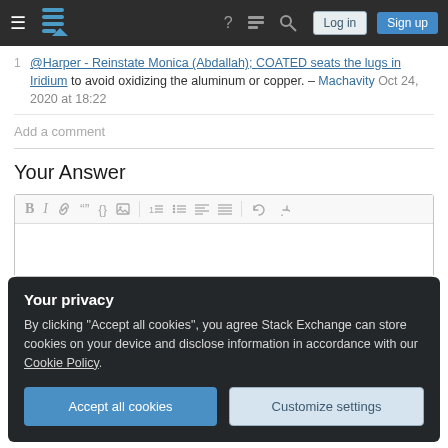Stack Exchange navigation bar with hamburger menu, logo, help, chat, search icons, Log in and Sign up buttons
@Harper - Reinstate Monica (Abdallah); COATED seats the lugs in Iridium to avoid oxidizing the aluminum or copper. – Machavity Oct 24, 2020 at 18:22
Add a comment
Your Answer
[Figure (screenshot): Rich text editor toolbar with bold, italic, link, blockquote, code, image, ordered list, unordered list, align left, align justify, undo, redo icons]
Your privacy
By clicking "Accept all cookies", you agree Stack Exchange can store cookies on your device and disclose information in accordance with our Cookie Policy.
Accept all cookies
Customize settings